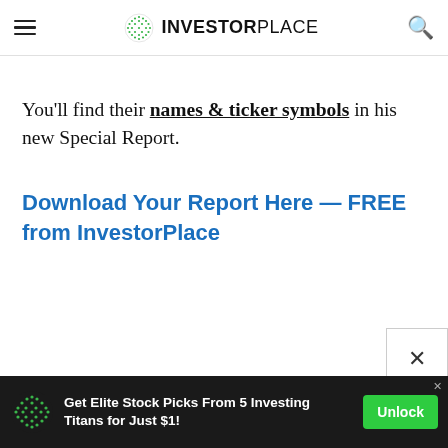INVESTORPLACE
You’ll find their names & ticker symbols in his new Special Report.
Download Your Report Here — FREE from InvestorPlace
[Figure (infographic): Advertisement banner: green dotted globe logo, text 'Get Elite Stock Picks From 5 Investing Titans for Just $1!', green 'Unlock' button]